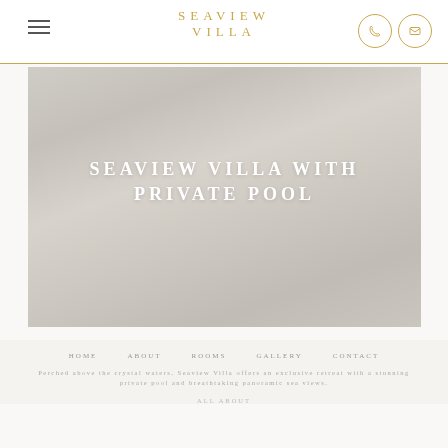SEAVIEW VILLA
[Figure (photo): Hero image of a villa with private pool, shown as a large background photograph with overlaid bold white text reading 'SEAVIEW VILLA WITH PRIVATE POOL']
SEAVIEW VILLA WITH PRIVATE POOL
Navigation links row with page sections
Description text about the villa property
ALL ABOUT